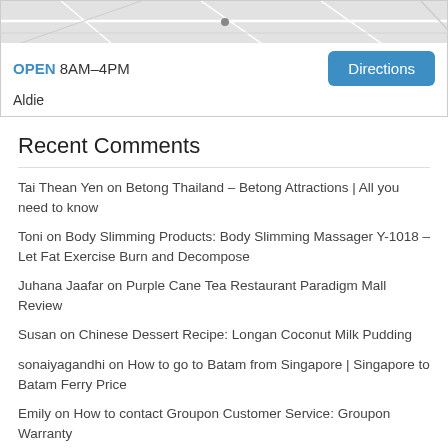[Figure (map): Map widget showing location in Aldie, with OPEN 8AM-4PM text and a blue Directions button]
Recent Comments
Tai Thean Yen on Betong Thailand – Betong Attractions | All you need to know
Toni on Body Slimming Products: Body Slimming Massager Y-1018 – Let Fat Exercise Burn and Decompose
Juhana Jaafar on Purple Cane Tea Restaurant Paradigm Mall Review
Susan on Chinese Dessert Recipe: Longan Coconut Milk Pudding
sonaiyagandhi on How to go to Batam from Singapore | Singapore to Batam Ferry Price
Emily on How to contact Groupon Customer Service: Groupon Warranty
Ryna on Bleu Red Wine Merlot | Wine Tasting Steps
Ifeanyi Okpara on Farm Fresh Yogurt – Natural Probiotic Yogurt
Maevis Lim on How to contact Groupon Customer Service: Groupon Warranty
Tang on Betong Thailand – Betong Attractions | All